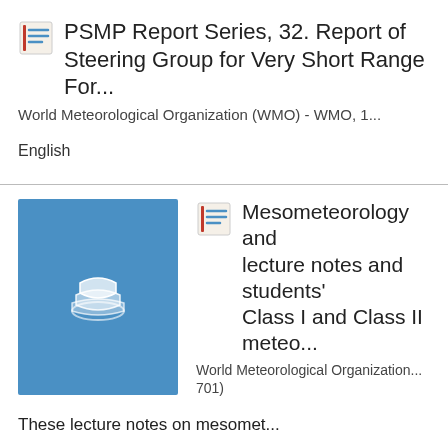PSMP Report Series, 32. Report of the Steering Group for Very Short Range For...
World Meteorological Organization (WMO) - WMO, 1...
English
Mesometeorology and... lecture notes and students'... Class I and Class II meteo...
World Meteorological Organization... 701)
These lecture notes on mesomet...
meteorological personnel workin...
departments of Meteorological Services and stu...
[Figure (illustration): Blue book cover thumbnail with stacked white diamond/book icon]